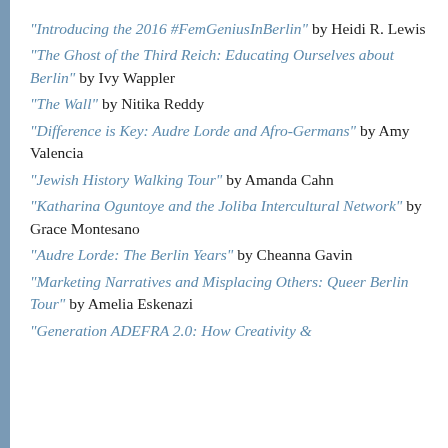“Introducing the 2016 #FemGeniusInBerlin” by Heidi R. Lewis
“The Ghost of the Third Reich: Educating Ourselves about Berlin” by Ivy Wappler
“The Wall” by Nitika Reddy
“Difference is Key: Audre Lorde and Afro-Germans” by Amy Valencia
“Jewish History Walking Tour” by Amanda Cahn
“Katharina Oguntoye and the Joliba Intercultural Network” by Grace Montesano
“Audre Lorde: The Berlin Years” by Cheanna Gavin
“Marketing Narratives and Misplacing Others: Queer Berlin Tour” by Amelia Eskenazi
“Generation ADEFRA 2.0: How Creativity &